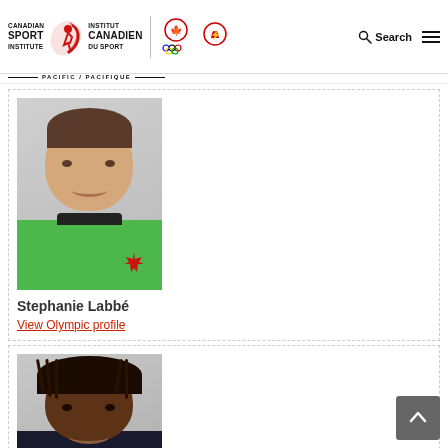Canadian Sport Institute Institut Canadien du Sport PACIFIC / PACIFIQUE | Search navigation
[Figure (photo): Headshot photo of Stephanie Labbe wearing a bright green Canadian national team goalkeeper jersey, smiling at the camera against a grey background]
Stephanie Labbé
View Olympic profile
[Figure (photo): Headshot photo of a Black female athlete with braided hair, wearing a dark Canadian national team jersey, smiling, against a grey background. Partially visible (cut off at bottom).]